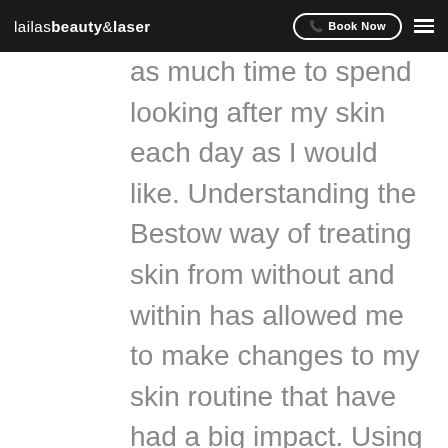lailasbeauty&laser  Book Now
as much time to spend looking after my skin each day as I would like. Understanding the Bestow way of treating skin from without and within has allowed me to make changes to my skin routine that have had a big impact. Using the Bestow Nourishing Facial Oil has meant that I am actually saving time in the morning